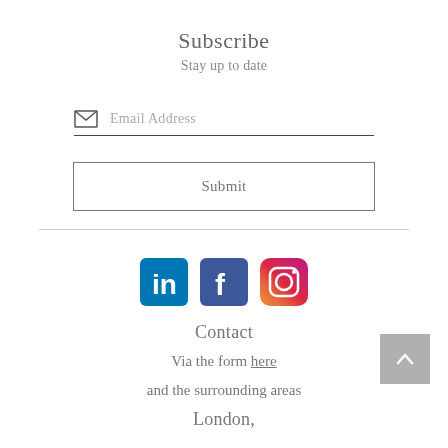Subscribe
Stay up to date
Email Address
Submit
[Figure (logo): LinkedIn, Facebook, and Instagram social media icons in a row]
Contact
Via the form here
and the surrounding areas
London,